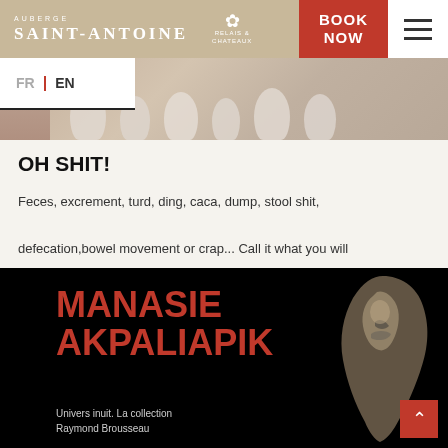AUBERGE SAINT-ANTOINE | RELAIS & CHATEAUX | BOOK NOW
[Figure (photo): Row of white porcelain toilets displayed in a sepia-toned exhibition setting]
OH SHIT!
Feces, excrement, turd, ding, caca, dump, stool shit, defecation,bowel movement or crap... Call it what you will
[Figure (photo): Black background image with bold red text reading MANASIE AKPALIAPIK and subtitle Univers inuit. La collection Raymond Brousseau, alongside an Inuit sculpture]